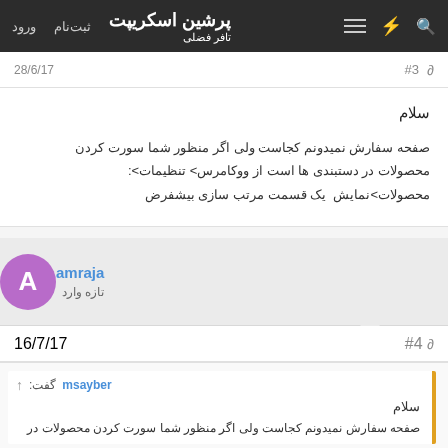پرشین اسکریپت | ثبت‌نام | ورود
#3  28/6/17
سلام
صفحه سفارش نمیدونم کجاست ولی اگر منظور شما سورت کردن محصولات در دستبندی ها است از ووکامرس&gt; تنظیمات&gt; محصولات&gt;نمایش  یک قسمت مرتب سازی بیشفرض
amraja
تازه وارد
#4  16/7/17
msayber گفت:
سلام
صفحه سفارش نمیدونم کجاست ولی اگر منظور شما سورت کردن محصولات در